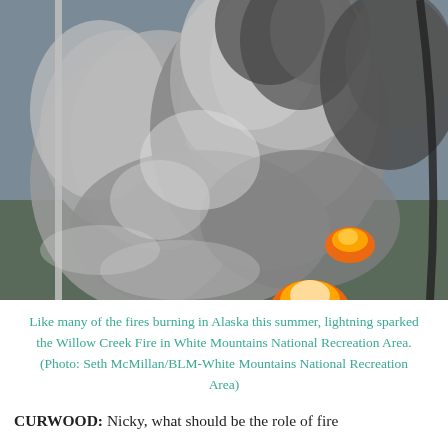[Figure (photo): Aerial photograph of the Willow Creek Fire in White Mountains National Recreation Area, Alaska. Large plumes of dark gray and white smoke billowing upward from a forest fire, with visible orange flames below. The photo is taken from inside a helicopter or small aircraft, with a strut or door frame visible on the left side.]
Like many of the fires burning in Alaska this summer, lightning sparked the Willow Creek Fire in White Mountains National Recreation Area. (Photo: Seth McMillan/BLM-White Mountains National Recreation Area)
CURWOOD: Nicky, what should be the role of fire